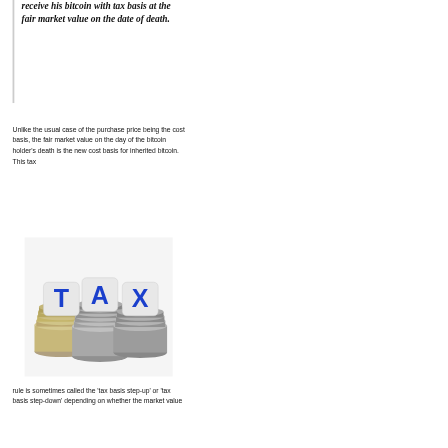receive his bitcoin with tax basis at the fair market value on the date of death.
Unlike the usual case of the purchase price being the cost basis, the fair market value on the day of the bitcoin holder's death is the new cost basis for inherited bitcoin. This tax
[Figure (photo): Three stacks of coins with dice on top spelling out T, A, X in blue letters on white dice faces.]
rule is sometimes called the 'tax basis step-up' or 'tax basis step-down' depending on whether the market value